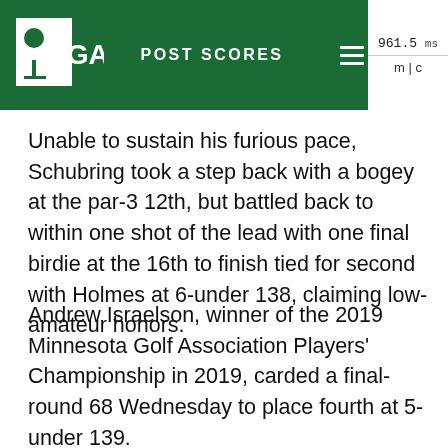MGA | POST SCORES | 961.5 ms | m | c
Unable to sustain his furious pace, Schubring took a step back with a bogey at the par-3 12th, but battled back to within one shot of the lead with one final birdie at the 16th to finish tied for second with Holmes at 6-under 138, claiming low-amateur honors.
Andrew Israelson, winner of the 2019 Minnesota Golf Association Players' Championship in 2019, carded a final-round 68 Wednesday to place fourth at 5-under 139.